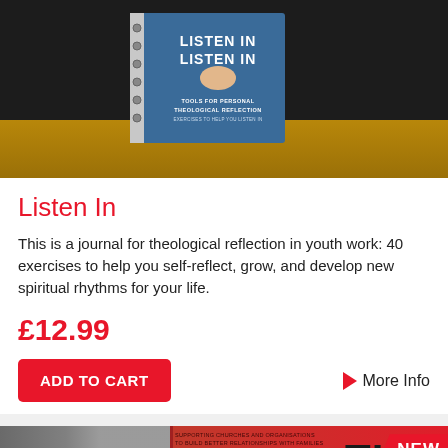[Figure (photo): Photo of a blue spiral-bound journal titled 'Listen In: Tools for Personal Theological Reflection' on a wooden surface with dark background]
Listen In
This is a journal for theological reflection in youth work: 40 exercises to help you self-reflect, grow, and develop new spiritual rhythms for your life.
£12.99
ADD TO CART
More Info
[Figure (photo): Photo of a red book titled 'The Reimagining Conversations' with a NEW badge and a pink/purple app icon in the bottom right corner]